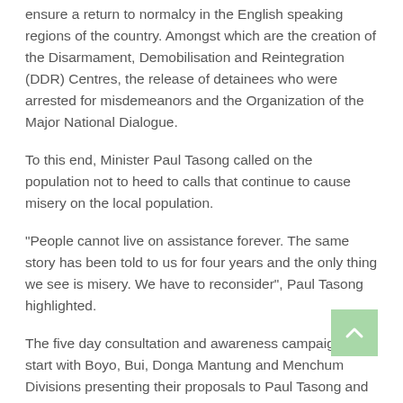ensure a return to normalcy in the English speaking regions of the country. Amongst which are the creation of the Disarmament, Demobilisation and Reintegration (DDR) Centres, the release of detainees who were arrested for misdemeanors and the Organization of the Major National Dialogue.
To this end, Minister Paul Tasong called on the population not to heed to calls that continue to cause misery on the local population.
"People cannot live on assistance forever. The same story has been told to us for four years and the only thing we see is misery. We have to reconsider", Paul Tasong highlighted.
The five day consultation and awareness campaign will start with Boyo, Bui, Donga Mantung and Menchum Divisions presenting their proposals to Paul Tasong and his vice, Njong Donatus this Tuesday
By Ndi Tsembom Elvis
REACTIONS